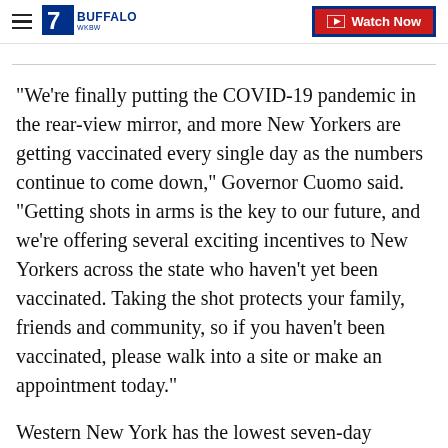7 WKBW Buffalo | Watch Now
"We're finally putting the COVID-19 pandemic in the rear-view mirror, and more New Yorkers are getting vaccinated every single day as the numbers continue to come down," Governor Cuomo said. "Getting shots in arms is the key to our future, and we're offering several exciting incentives to New Yorkers across the state who haven't yet been vaccinated. Taking the shot protects your family, friends and community, so if you haven't been vaccinated, please walk into a site or make an appointment today."
Western New York has the lowest seven-day COVID-19 infection rate at .21 percent